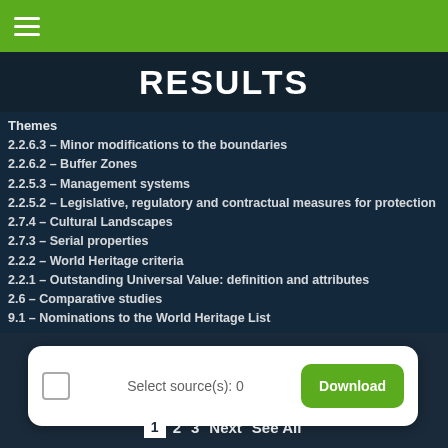≡ (hamburger menu)
RESULTS
Themes
2.2.6.3 – Minor modifications to the boundaries
2.2.6.2 – Buffer Zones
2.2.5.3 – Management systems
2.2.5.2 – Legislative, regulatory and contractual measures for protection
2.7.4 – Cultural Landscapes
2.7.3 – Serial properties
2.2.2 – World Heritage criteria
2.2.1 – Outstanding Universal Value: definition and attributes
2.6 – Comparative studies
9.1 – Nominations to the World Heritage List
Select source(s): 0
Download
1 2 3 Next See All